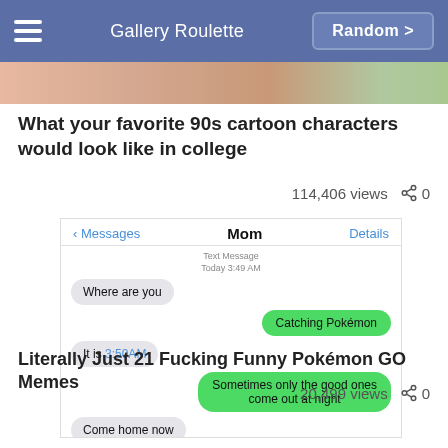Gallery Roulette  Random >
[Figure (photo): Cropped thumbnail strip of 90s cartoon characters]
What your favorite 90s cartoon characters would look like in college
114,406 views  < 0
[Figure (screenshot): iPhone iMessage conversation screenshot. Header: Messages | Mom | Details. Timestamp: Text Message Today 3:49 AM. Messages: 'Where are you' (grey bubble), 'Catching Pokémon' (green bubble), 'It is 3:50AM' (grey bubble), 'Sometimes only the good ones come out at night' (green bubble), 'Come home now' (grey bubble).]
Literally Just 21 Fucking Funny Pokémon GO Memes
20,499 views  < 0